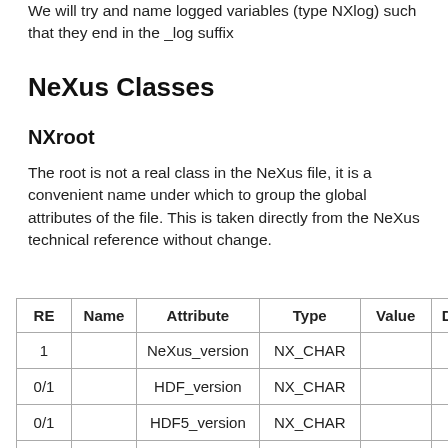We will try and name logged variables (type NXlog) such that they end in the _log suffix
NeXus Classes
NXroot
The root is not a real class in the NeXus file, it is a convenient name under which to group the global attributes of the file. This is taken directly from the NeXus technical reference without change.
| RE | Name | Attribute | Type | Value | Des… |
| --- | --- | --- | --- | --- | --- |
| 1 |  | NeXus_version | NX_CHAR |  |  |
| 0/1 |  | HDF_version | NX_CHAR |  |  |
| 0/1 |  | HDF5_version | NX_CHAR |  |  |
| 0/1 |  | XML_version | NX_CHAR |  |  |